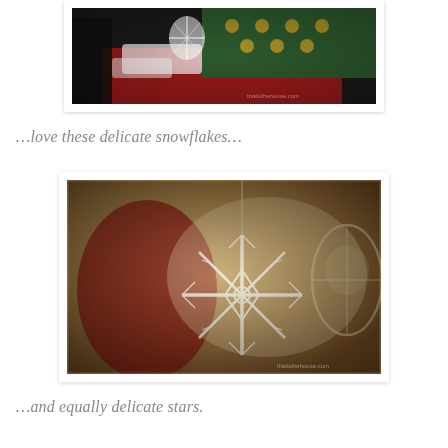[Figure (photo): Photo of a Christmas market or store display with white lace/crochet decorations, snowflakes, and ornaments on red tablecloth with green display in background. Photo has white border frame and watermark text.]
…love these delicate snowflakes…
[Figure (photo): Close-up photo of a large white crocheted/lace snowflake ornament hanging, with a blurred red background and another lace ornament to the right. Warm golden-brown tones. Photo has white border frame and watermark.]
…and equally delicate stars.